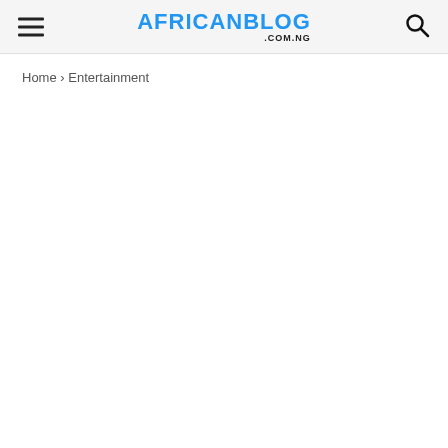AFRICANBLOG .COM.NG
Home › Entertainment